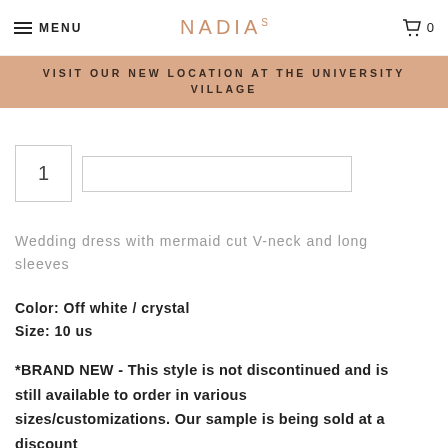MENU  NADIAS  0
VISIT OUR NEW LOCATION AT THE UNIVERSITY VILLAGE
1
Wedding dress with mermaid cut V-neck and long sleeves
Color: Off white / crystal
Size: 10 us
*BRAND NEW - This style is not discontinued and is still available to order in various sizes/customizations. Our sample is being sold at a discount